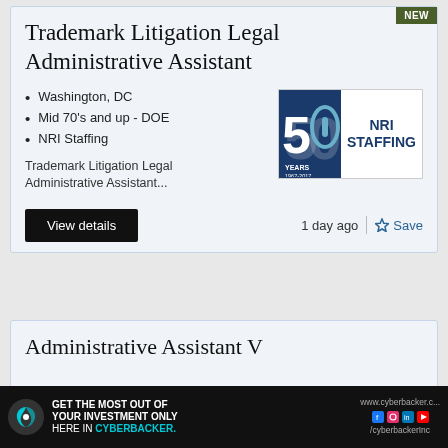Trademark Litigation Legal Administrative Assistant
Washington, DC
Mid 70's and up - DOE
NRI Staffing
[Figure (logo): NRI Staffing 50 Years logo, 1967-2017, dark blue background with large '50' text and NRI STAFFING text on white background]
Trademark Litigation Legal Administrative Assistant...
View details
1 day ago
Save
Administrative Assistant V
[Figure (infographic): Cyberbacker advertisement banner: GET THE MOST OUT OF YOUR INVESTMENT ONLY HERE IN CYBERBACKER. www.cyberbacker.c... /cyberbackerInc with social media icons]